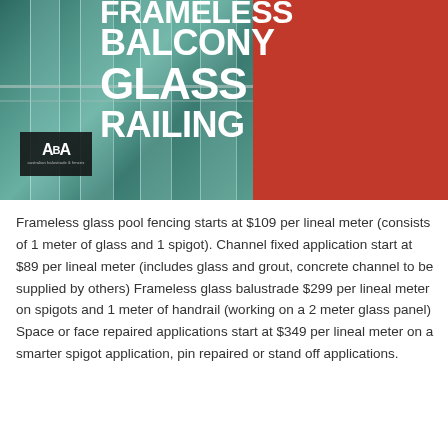[Figure (photo): Frameless balcony glass railing product hero image. Left portion shows a photo of frameless glass railing panels with a teal/green building interior background. Right portion is a solid red background. Large bold white text reads 'FRAMELESS BALCONY GLASS RAILING' overlaid across the image. ABA logo in bottom-left corner of image.]
Frameless glass pool fencing starts at $109 per lineal meter (consists of 1 meter of glass and 1 spigot). Channel fixed application start at $89 per lineal meter (includes glass and grout, concrete channel to be supplied by others) Frameless glass balustrade $299 per lineal meter on spigots and 1 meter of handrail (working on a 2 meter glass panel) Space or face repaired applications start at $349 per lineal meter on a smarter spigot application, pin repaired or stand off applications.